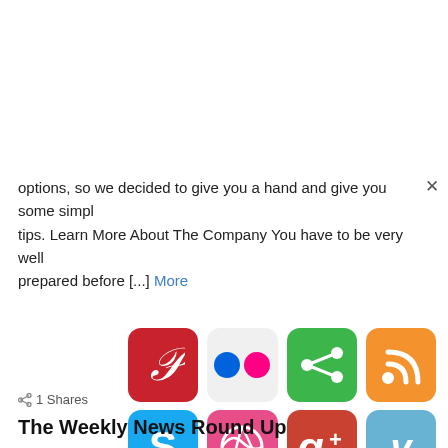options, so we decided to give you a hand and give you some simpl tips. Learn More About The Company You have to be very well prepared before [...] More
[Figure (infographic): Grid of 12 social media icons: Pinterest, Flickr, ShareThis, RSS, Skype, Dribbble, Google+, Vimeo, Evernote, Digg, unknown app, Blogger]
< 1 Shares
The Weekly News Round Up